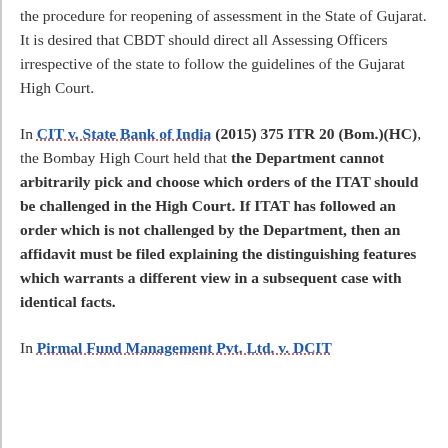the procedure for reopening of assessment in the State of Gujarat. It is desired that CBDT should direct all Assessing Officers irrespective of the state to follow the guidelines of the Gujarat High Court.
In CIT v. State Bank of India (2015) 375 ITR 20 (Bom.)(HC), the Bombay High Court held that the Department cannot arbitrarily pick and choose which orders of the ITAT should be challenged in the High Court. If ITAT has followed an order which is not challenged by the Department, then an affidavit must be filed explaining the distinguishing features which warrants a different view in a subsequent case with identical facts.
In Pirmal Fund Management Pvt. Ltd. v. DCIT